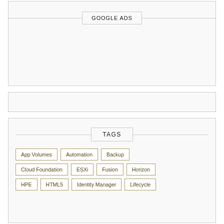[Figure (other): Google Ads placeholder box with centered label 'GOOGLE ADS' and horizontal rules on each side]
[Figure (other): Empty sidebar widget box]
TAGS
App Volumes
Automation
Backup
Cloud Foundation
ESXi
Fusion
Horizon
HPE
HTML5
Identity Manager
Lifecycle